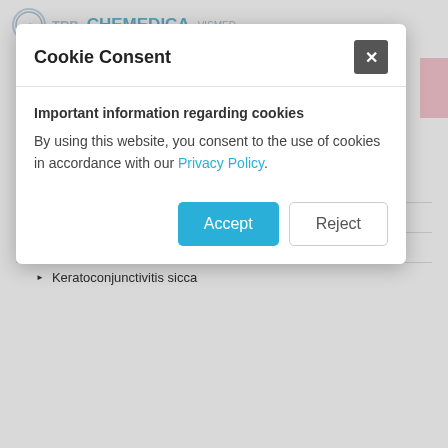[Figure (screenshot): Website header with TRB CHEMEDICA / VISMED logo, shopping cart link, and TRB Chemedica UK navigation]
Eye symptoms are known. However, treatment can still be instigated.
Please also view our Dry Eye Video here: http://vismed.trbchemedica.co.uk/patient-information/dry-eye-video
© Copyright TRB Chemedica International
Understanding Dry Eye
Dry Eye Definition
Tear Film Abnormalities
Keratoconjunctivitis sicca
Cookie Consent
Important information regarding cookies
By using this website, you consent to the use of cookies in accordance with our Privacy Policy.
Accept
Reject